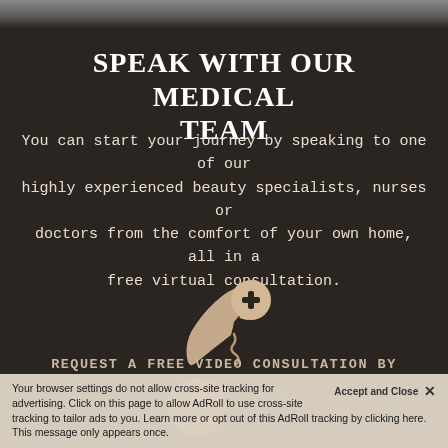[Figure (photo): Top portion of a photo partially visible at the top of the page, showing what appears to be a medical/beauty professional]
SPEAK WITH OUR MEDICAL TEAM
You can start your journey by speaking to one of our highly experienced beauty specialists, nurses or doctors from the comfort of your own home, all in a free virtual consultation.
[Figure (illustration): Icon of a phone handset with a medical cross speech bubble, colored in beige/cream tones on dark background]
REQUEST A FREE VIDEO CONSULTATION BY SPEAKING WITH OUR REPRESENTATIVES TO ARRANGE A SUITABLE QUESTIONS
Your browser settings do not allow cross-site tracking for advertising. Click on this page to allow AdRoll to use cross-site tracking to tailor ads to you. Learn more or opt out of this AdRoll tracking by clicking here. This message only appears once.